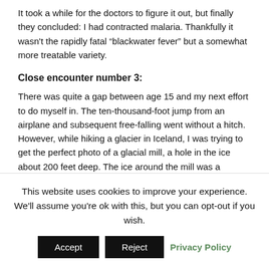It took a while for the doctors to figure it out, but finally they concluded: I had contracted malaria. Thankfully it wasn't the rapidly fatal “blackwater fever” but a somewhat more treatable variety.
Close encounter number 3:
There was quite a gap between age 15 and my next effort to do myself in. The ten-thousand-foot jump from an airplane and subsequent free-falling went without a hitch. However, while hiking a glacier in Iceland, I was trying to get the perfect photo of a glacial mill, a hole in the ice about 200 feet deep. The ice around the mill was a lustrous blue, and as I straddled it to get my shot, I slipped. Thankfully my cleats caught the ice and I managed to wrench myself backwards to safety. Had I not done so I would have
This website uses cookies to improve your experience. We'll assume you're ok with this, but you can opt-out if you wish.
Accept   Reject   Privacy Policy